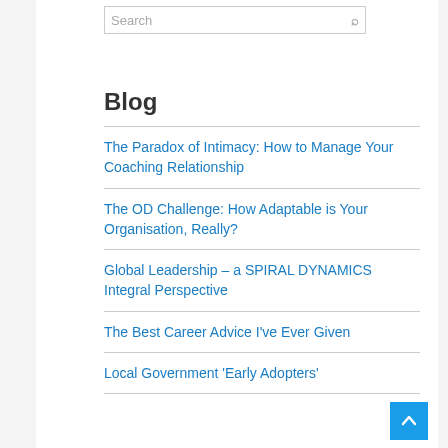Search
Blog
The Paradox of Intimacy: How to Manage Your Coaching Relationship
The OD Challenge: How Adaptable is Your Organisation, Really?
Global Leadership – a SPIRAL DYNAMICS Integral Perspective
The Best Career Advice I've Ever Given
Local Government 'Early Adopters'